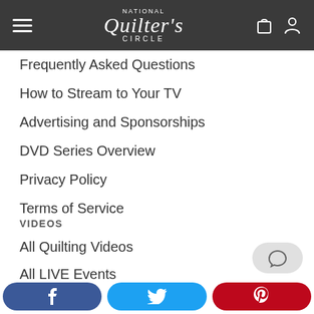National Quilters Circle
Frequently Asked Questions
How to Stream to Your TV
Advertising and Sponsorships
DVD Series Overview
Privacy Policy
Terms of Service
VIDEOS
All Quilting Videos
All LIVE Events
Free Videos
Premium Videos
Core Skills